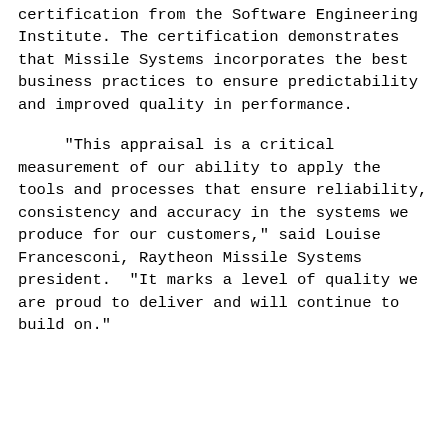certification from the Software Engineering Institute. The certification demonstrates that Missile Systems incorporates the best business practices to ensure predictability and improved quality in performance.
"This appraisal is a critical measurement of our ability to apply the tools and processes that ensure reliability, consistency and accuracy in the systems we produce for our customers," said Louise Francesconi, Raytheon Missile Systems president.  "It marks a level of quality we are proud to deliver and will continue to build on."